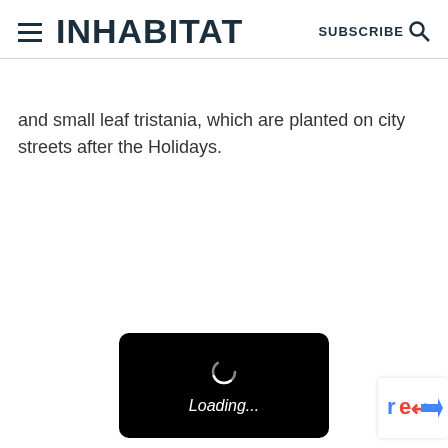INHABITAT | SUBSCRIBE
and small leaf tristania, which are planted on city streets after the Holidays.
[Figure (other): Black loading overlay with spinner and 'Loading...' text in italic]
[Figure (other): reCAPTCHA badge partially visible at bottom right]